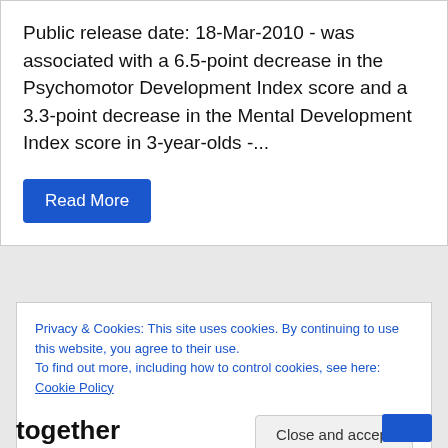Public release date: 18-Mar-2010 - was associated with a 6.5-point decrease in the Psychomotor Development Index score and a 3.3-point decrease in the Mental Development Index score in 3-year-olds -...
Read More
Privacy & Cookies: This site uses cookies. By continuing to use this website, you agree to their use.
To find out more, including how to control cookies, see here: Cookie Policy
Close and accept
together